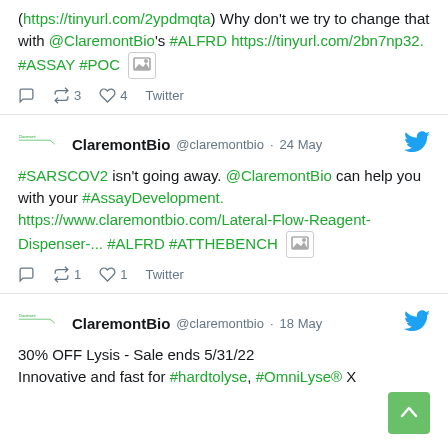(https://tinyurl.com/2ypdmqta) Why don't we try to change that with @ClaremontBio's #ALFRD https://tinyurl.com/2bn7np32. #ASSAY #POC [image]
reply  retweet 3  like 4  Twitter
ClaremontBio @claremontbio · 24 May
#SARSCOV2 isn't going away. @ClaremontBio can help you with your #AssayDevelopment. https://www.claremontbio.com/Lateral-Flow-Reagent-Dispenser-... #ALFRD #ATTHEBENCH [image]
reply  retweet 1  like 1  Twitter
ClaremontBio @claremontbio · 18 May
30% OFF Lysis - Sale ends 5/31/22 Innovative and fast for #hardtolyse, #OmniLyse® X